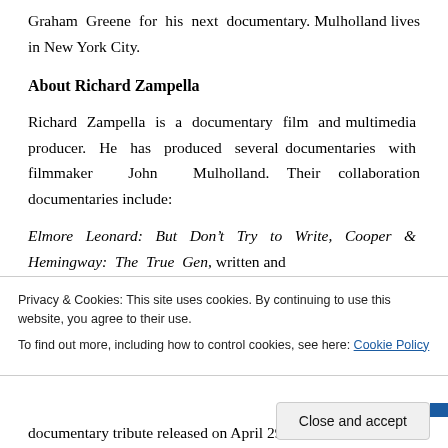Graham Greene for his next documentary. Mulholland lives in New York City.
About Richard Zampella
Richard Zampella is a documentary film and multimedia producer. He has produced several documentaries with filmmaker John Mulholland. Their collaboration documentaries include:
Elmore Leonard: But Don’t Try to Write, Cooper & Hemingway: The True Gen, written and
Privacy & Cookies: This site uses cookies. By continuing to use this website, you agree to their use.
To find out more, including how to control cookies, see here: Cookie Policy
Close and accept
documentary tribute released on April 29, 2009,